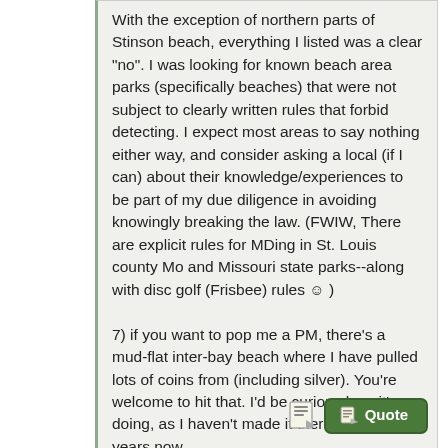With the exception of northern parts of Stinson beach, everything I listed was a clear "no". I was looking for known beach area parks (specifically beaches) that were not subject to clearly written rules that forbid detecting. I expect most areas to say nothing either way, and consider asking a local (if I can) about their knowledge/experiences to be part of my due diligence in avoiding knowingly breaking the law. (FWIW, There are explicit rules for MDing in St. Louis county Mo and Missouri state parks--along with disc golf (Frisbee) rules :) )

7) if you want to pop me a PM, there's a mud-flat inter-bay beach where I have pulled lots of coins from (including silver). You're welcome to hit that. I'd be curious how it's doing, as I haven't made it there in several years now.
Thanks for the offer, I may well do that!
Amba